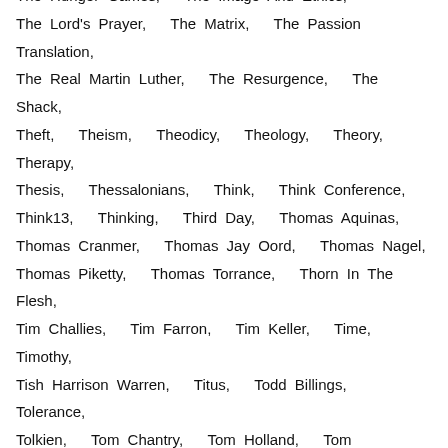The Hunger Games, The Image And Ethics,
The Lord's Prayer, The Matrix, The Passion Translation,
The Real Martin Luther, The Resurgence, The Shack,
Theft, Theism, Theodicy, Theology, Theory, Therapy,
Thesis, Thessalonians, Think, Think Conference,
Think13, Thinking, Third Day, Thomas Aquinas,
Thomas Cranmer, Thomas Jay Oord, Thomas Nagel,
Thomas Piketty, Thomas Torrance, Thorn In The Flesh,
Tim Challies, Tim Farron, Tim Keller, Time, Timothy,
Tish Harrison Warren, Titus, Todd Billings, Tolerance,
Tolkien, Tom Chantry, Tom Holland, Tom Pennington,
Tom Schreiner, Tom Wright, Tongues, Torah, Toronto,
Total Depravity, Totalitarianism, Tough Questions,
Toy Story, Tragedy, Training, Trajectories, Transgender,